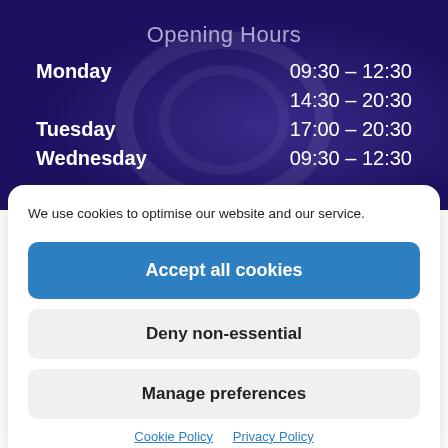Opening Hours
| Day | Hours |
| --- | --- |
| Monday | 09:30 - 12:30 |
|  | 14:30 - 20:30 |
| Tuesday | 17:00 - 20:30 |
| Wednesday | 09:30 - 12:30 |
We use cookies to optimise our website and our service.
Accept all cookies
Deny non-essential
Manage preferences
Cookie Policy   Privacy Policy